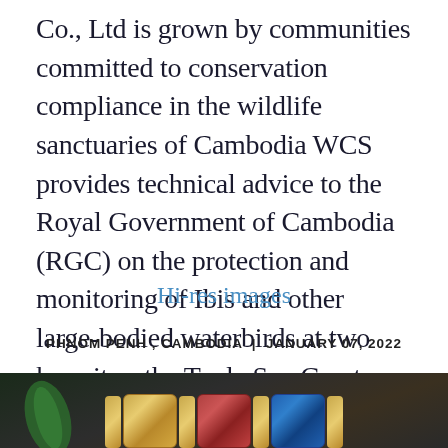Co., Ltd is grown by communities committed to conservation compliance in the wildlife sanctuaries of Cambodia WCS provides technical advice to the Royal Government of Cambodia (RGC) on the protection and monitoring of Ibis and other large-bodied waterbirds at two key sites, the Tonle Sap Great Lake and the Northern Plains -- learn more here
Hi-res images
PHNOM PENH , CAMBODIA | JANUARY 07, 2022
[Figure (photo): Photo of colorful beaded or woven bracelets/bangles in gold, red, and blue colors with decorative patterns, against a dark background with green foliage visible.]